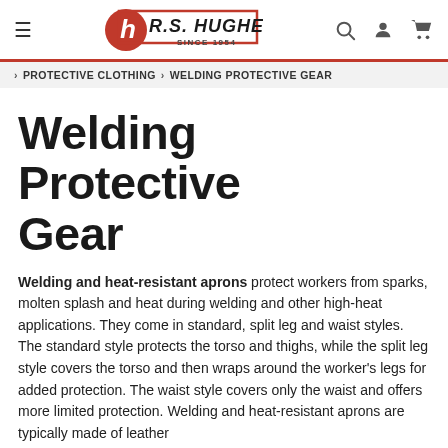R.S. HUGHES SINCE 1954
> PROTECTIVE CLOTHING > WELDING PROTECTIVE GEAR
Welding Protective Gear
Welding and heat-resistant aprons protect workers from sparks, molten splash and heat during welding and other high-heat applications. They come in standard, split leg and waist styles. The standard style protects the torso and thighs, while the split leg style covers the torso and then wraps around the worker's legs for added protection. The waist style covers only the waist and offers more limited protection. Welding and heat-resistant aprons are typically made of leather